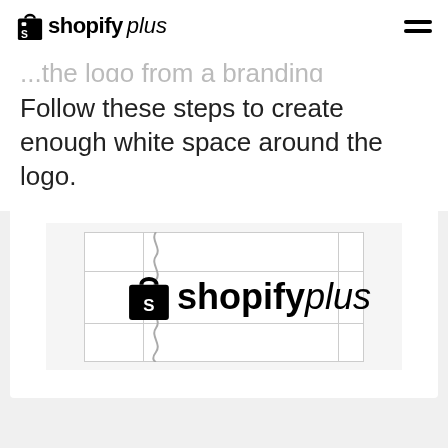shopifyplus
Follow these steps to create enough white space around the logo.
[Figure (illustration): Shopify Plus logo displayed inside a grid diagram showing white space guidelines. The logo consists of a shopping bag icon and the text 'shopifyplus' in bold/italic style. Vertical and horizontal grid lines mark the spacing zones around the logo, with a wavy red/grey boundary line on the left of the main logo area.]